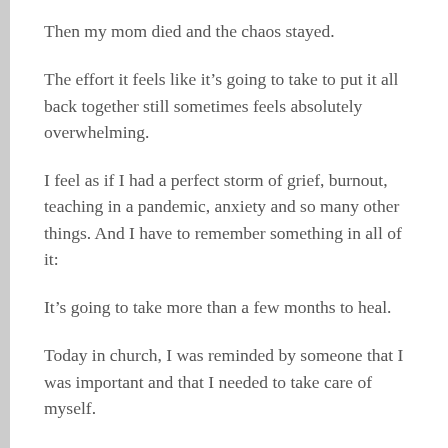Then my mom died and the chaos stayed.
The effort it feels like it’s going to take to put it all back together still sometimes feels absolutely overwhelming.
I feel as if I had a perfect storm of grief, burnout, teaching in a pandemic, anxiety and so many other things. And I have to remember something in all of it:
It’s going to take more than a few months to heal.
Today in church, I was reminded by someone that I was important and that I needed to take care of myself.
Woof.
And right now, all that’s trying to run through my head are the